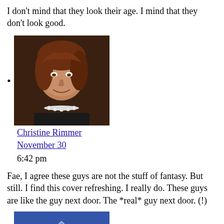I don't mind that they look their age. I mind that they don't look good.
[Figure (photo): Portrait photo of a woman with short brown hair, wearing a dark top and pearl necklace, smiling]
Christine Rimmer
November 30
6:42 pm
Fae, I agree these guys are not the stuff of fantasy. But still. I find this cover refreshing. I really do. These guys are like the guy next door. The *real* guy next door. (!)
[Figure (illustration): Blue diamond-shaped cartoon avatar with face (eyes, bandage), on a blue background]
Chantal
November 30
11:42 pm